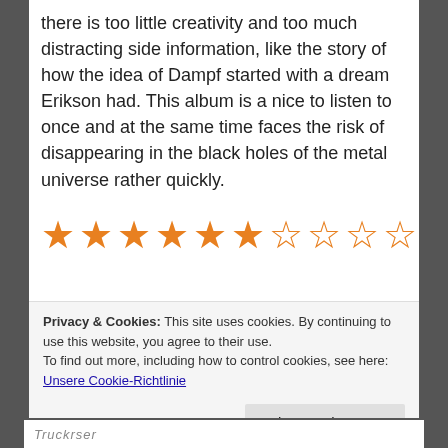there is too little creativity and too much distracting side information, like the story of how the idea of Dampf started with a dream Erikson had. This album is a nice to listen to once and at the same time faces the risk of disappearing in the black holes of the metal universe rather quickly.
[Figure (other): Star rating graphic showing 6 filled orange stars and 4 empty orange stars, representing a 6 out of 10 rating.]
Privacy & Cookies: This site uses cookies. By continuing to use this website, you agree to their use. To find out more, including how to control cookies, see here: Unsere Cookie-Richtlinie
Close and accept
Truckrser